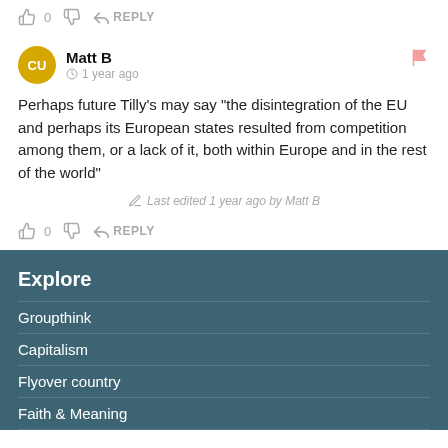0  REPLY
Matt B  1 year ago
Perhaps future Tilly’s may say “the disintegration of the EU and perhaps its European states resulted from competition among them, or a lack of it, both within Europe and in the rest of the world”
Last edited 1 year ago by Matt B
0  REPLY
Explore
Groupthink
Capitalism
Flyover country
Faith & Meaning